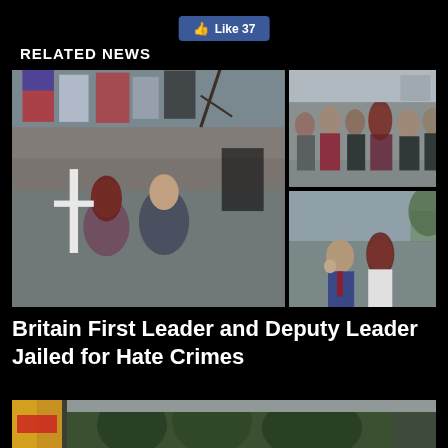[Figure (other): Facebook Like button showing 37 likes]
RELATED NEWS
[Figure (photo): Large photo on left: Two people (woman with red hair, man in suit with red poppy) at a march with Union Jack flags in background. Right column top: Group of people standing in a line. Right column bottom: Man in suit and woman with red hair walking outside.]
Britain First Leader and Deputy Leader Jailed for Hate Crimes
[Figure (photo): Partial photo at bottom showing flags and outdoor scene]